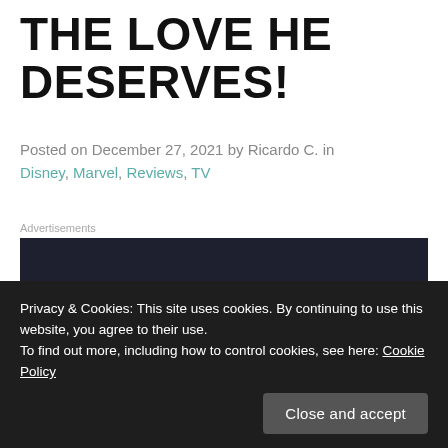THE LOVE HE DESERVES!
Posted on December 27, 2021 by Ricardo C. in Disney, Marvel, Reviews, TV
Advertisements
[Figure (other): Dark banner advertisement for 'sensei' service with logo circle and 'Launch y...' call to action in teal text]
For more upcoming news & reviews
Privacy & Cookies: This site uses cookies. By continuing to use this website, you agree to their use.
To find out more, including how to control cookies, see here: Cookie Policy